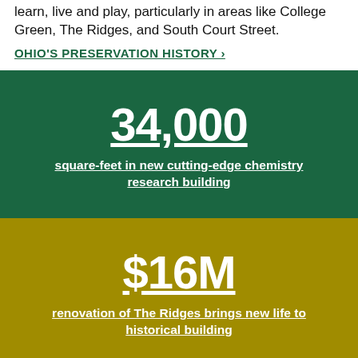learn, live and play, particularly in areas like College Green, The Ridges, and South Court Street.
OHIO'S PRESERVATION HISTORY ›
[Figure (infographic): Dark green box with large white underlined number '34,000' and white underlined text 'square-feet in new cutting-edge chemistry research building']
[Figure (infographic): Gold/olive box with large white underlined text '$16M' and white underlined text 'renovation of The Ridges brings new life to historical building']